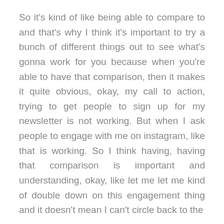So it's kind of like being able to compare to and that's why I think it's important to try a bunch of different things out to see what's gonna work for you because when you're able to have that comparison, then it makes it quite obvious, okay, my call to action, trying to get people to sign up for my newsletter is not working. But when I ask people to engage with me on instagram, like that is working. So I think having, having that comparison is important and understanding, okay, like let me let me kind of double down on this engagement thing and it doesn't mean I can't circle back to the
The secret to building a 7 figure online business & podcast... With Kate Erickson from Entrepreneurs on Fire (part 1/2)
[Figure (other): Audio player controls showing rewind 10s, forward 10s, play button, time 0:00 / 36:42, progress bar, volume icon, options menu, back/forward navigation arrows, and 1.0x playback speed]